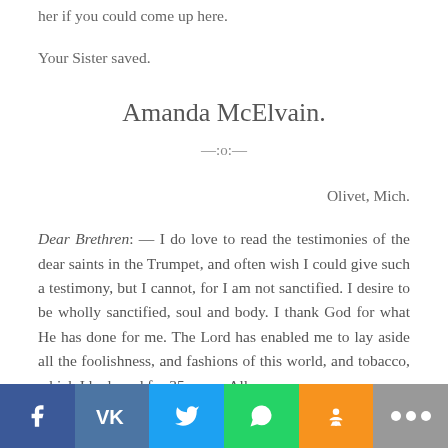her if you could come up here.
Your Sister saved.
Amanda McElvain.
—:o:—
Olivet, Mich.
Dear Brethren: — I do love to read the testimonies of the dear saints in the Trumpet, and often wish I could give such a testimony, but I cannot, for I am not sanctified. I desire to be wholly sanctified, soul and body. I thank God for what He has done for me. The Lord has enabled me to lay aside all the foolishness, and fashions of this world, and tobacco, which I had used for 35 years. All